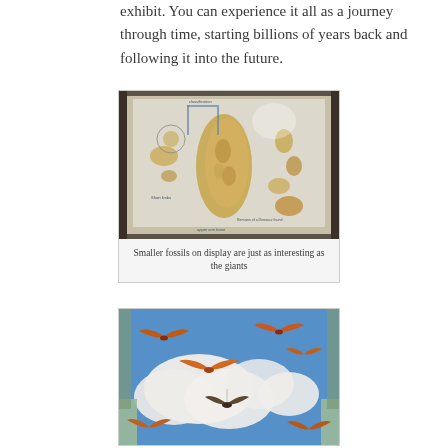exhibit. You can experience it all as a journey through time, starting billions of years back and following it into the future.
[Figure (photo): Museum display case showing smaller fossils arranged on a white background with labels and diagrams]
Smaller fossils on display are just as interesting as the giants
[Figure (photo): Museum ceiling display showing pterosaur/flying dinosaur models suspended against a blue sky mural with clouds]